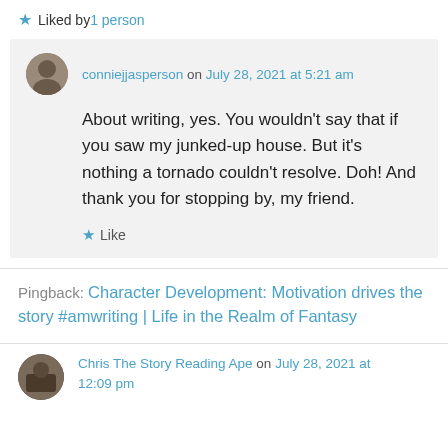★ Liked by 1 person
conniejjasperson on July 28, 2021 at 5:21 am
About writing, yes. You wouldn't say that if you saw my junked-up house. But it's nothing a tornado couldn't resolve. Doh! And thank you for stopping by, my friend.
★ Like
Pingback: Character Development: Motivation drives the story #amwriting | Life in the Realm of Fantasy
Chris The Story Reading Ape on July 28, 2021 at 12:09 pm